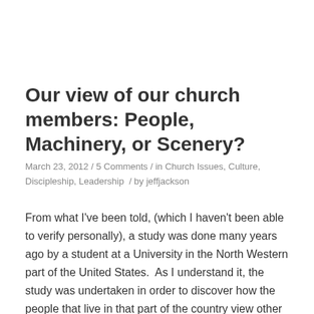Our view of our church members: People, Machinery, or Scenery?
March 23, 2012 / 5 Comments / in Church Issues, Culture, Discipleship, Leadership / by jeffjackson
From what I've been told, (which I haven't been able to verify personally), a study was done many years ago by a student at a University in the North Western part of the United States.  As I understand it, the study was undertaken in order to discover how the people that live in that part of the country view other people.  The study was conducted by interviewing a variety of people and asking them to express their views about their family